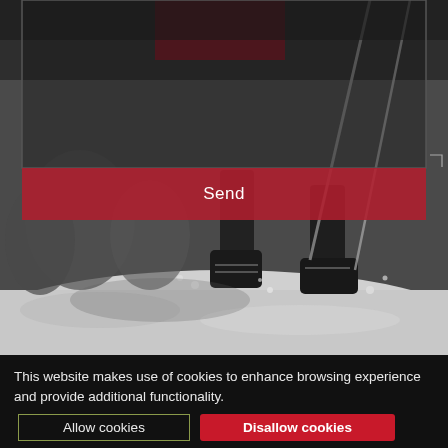[Figure (photo): Black and white photo of a person's lower legs and boots walking through snow, with ski poles visible. Background shows snowy mountain landscape with trees. A red/dark form area with 'Send' button overlaid on top portion.]
Send
This website makes use of cookies to enhance browsing experience and provide additional functionality.
Allow cookies
Disallow cookies